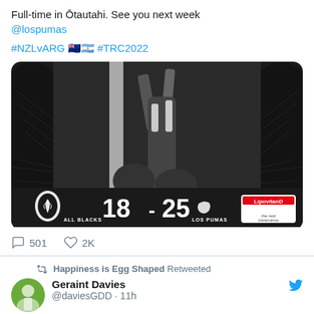Full-time in Ōtautahi. See you next week @lospumas
#NZLvARG 🇳🇿🇦🇷 #TRC2022
[Figure (photo): Rugby lineout action photo with scoreboard: ALL BLACKS 18 - 25 LOS PUMAS, with fern leaf design and LipovitanD sponsor logo]
501 replies, 2K likes
Happiness is Egg Shaped Retweeted
Geraint Davies @daviesGDD · 11h
It's a thing of beauty. Very clever build up play to